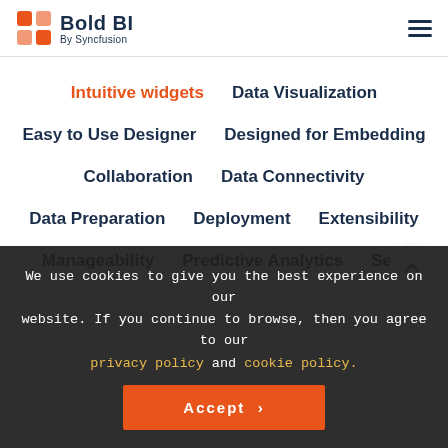[Figure (logo): Bold BI by Syncfusion logo with orange grid icon and dark blue text]
Intuitive widgets
Data Visualization
Easy to Use Designer
Designed for Embedding
Collaboration
Data Connectivity
Data Preparation
Deployment
Extensibility
Manageability
Predictive Analytics
Se...
We use cookies to give you the best experience on our website. If you continue to browse, then you agree to our privacy policy and cookie policy.
Accept >